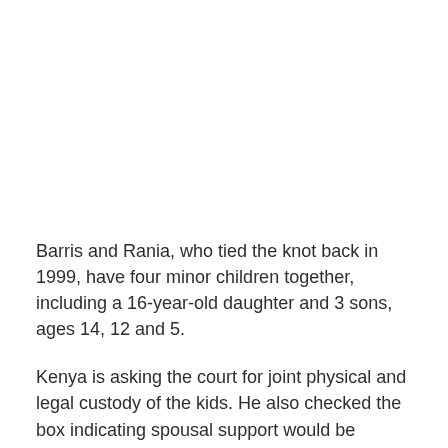Barris and Rania, who tied the knot back in 1999, have four minor children together, including a 16-year-old daughter and 3 sons, ages 14, 12 and 5.
Kenya is asking the court for joint physical and legal custody of the kids. He also checked the box indicating spousal support would be payable to his estranged wife, according to TMZ.